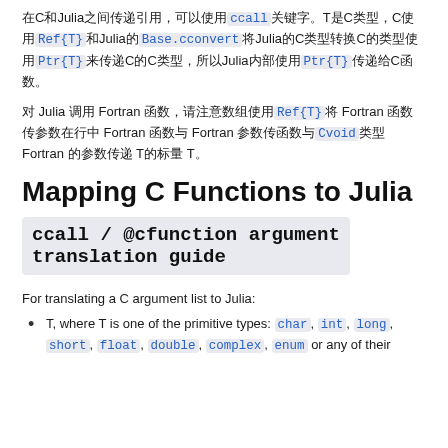在C和Julia之间传递引用，可以使用ccall关键字。T是C类型，C使用Ref{T}和Julia的Base.cconvert将Julia的C类型转换C的类型使用Ptr{T}来传递C的C类型，所以Julia内部使用Ptr{T}传递给C函数。
对 Julia 调用 Fortran 函数，请注意数组使用Ref{T}将 Fortran 函数传参数在行中 Fortran 函数与 Cvoid类型 Fortran 的参数传递 T的标量 T。
Mapping C Functions to Julia
ccall / @cfunction argument translation guide
For translating a C argument list to Julia:
T, where T is one of the primitive types: char, int, long, short, float, double, complex, enum or any of their